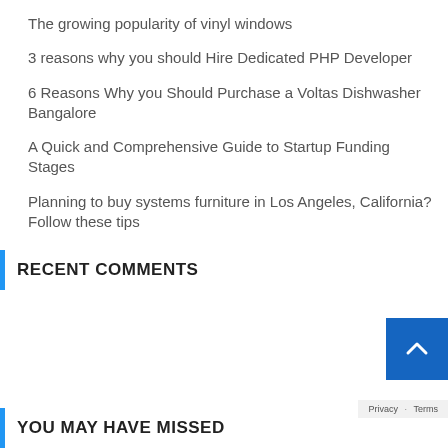The growing popularity of vinyl windows
3 reasons why you should Hire Dedicated PHP Developer
6 Reasons Why you Should Purchase a Voltas Dishwasher Bangalore
A Quick and Comprehensive Guide to Startup Funding Stages
Planning to buy systems furniture in Los Angeles, California? Follow these tips
RECENT COMMENTS
YOU MAY HAVE MISSED